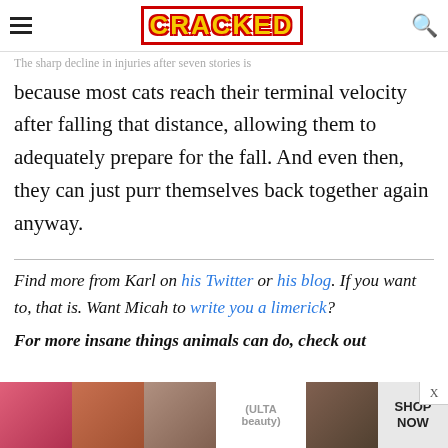CRACKED
The sharp decline in injuries after seven stories is because most cats reach their terminal velocity after falling that distance, allowing them to adequately prepare for the fall. And even then, they can just purr themselves back together again anyway.
Find more from Karl on his Twitter or his blog. If you want to, that is. Want Micah to write you a limerick?
For more insane things animals can do, check out
[Figure (photo): ULTA beauty advertisement banner with makeup photos and SHOP NOW button]